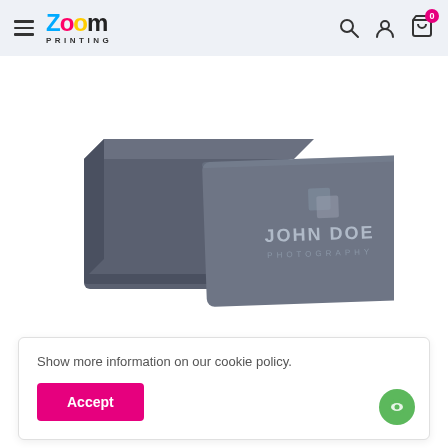Zoom Printing — navigation header with hamburger menu, logo, search, account, and cart icons
[Figure (photo): Two dark grey business cards / card boxes with 'JOHN DOE PHOTOGRAPHY' text and a grey square logo icon, shown at an angle on a white background]
Show more information on our cookie policy.
Accept